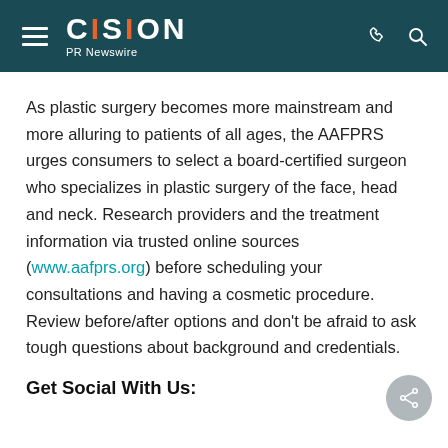CISION PR Newswire
As plastic surgery becomes more mainstream and more alluring to patients of all ages, the AAFPRS urges consumers to select a board-certified surgeon who specializes in plastic surgery of the face, head and neck. Research providers and the treatment information via trusted online sources (www.aafprs.org) before scheduling your consultations and having a cosmetic procedure. Review before/after options and don't be afraid to ask tough questions about background and credentials.
Get Social With Us: